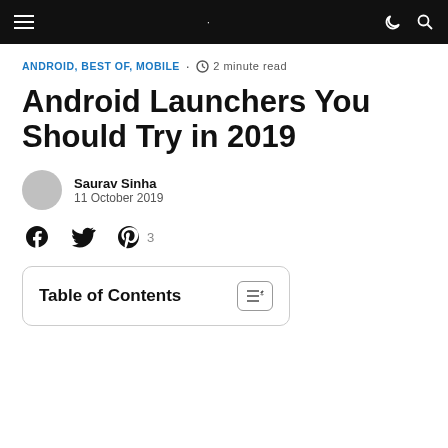Navigation bar with hamburger menu, moon/dark mode icon, and search icon
ANDROID, BEST OF, MOBILE · ⏱ 2 minute read
Android Launchers You Should Try in 2019
Saurav Sinha
11 October 2019
Social share icons: Facebook, Twitter, Pinterest 3
Table of Contents